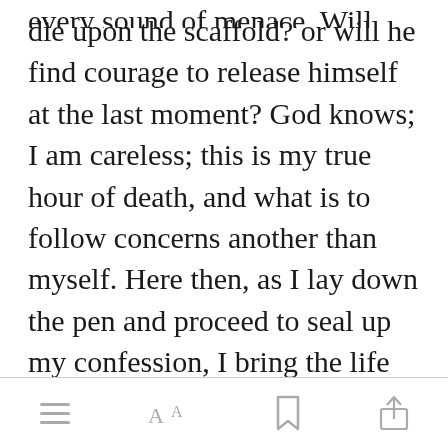every sound of menace. Will Hyde die upon the scaffold? or will he find courage to release himself at the last moment? God knows; I am careless; this is my true hour of death, and what is to follow concerns another than myself. Here then, as I lay down the pen and proceed to seal up my confession, I bring the life of that unhappy Henry Jekyll to an end.
[Figure (screenshot): Green 'Open in app' button overlay]
[Figure (screenshot): Mobile reading app toolbar with menu, font, bookmark, and share icons]